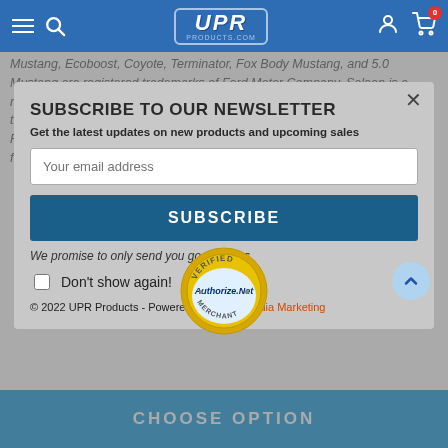UPR PRODUCTS.COM navigation bar with hamburger menu, search icon, UPR logo, user icon, and cart icon showing 0 items
Mustang, Ecoboost, Coyote, Terminator, Fox Body Mustang, and 5.0 Mustang are registered trademarks of Ford Motor Company. Saleen is a registered trademark of Saleen Incorporated. Roush is a registered trademark of Roush Enterprises Inc. UPR Products has no affiliation with the Ford Motor Company, Roush Enterprises, or Saleen. These terms are used for identification purposes only.
SUBSCRIBE TO OUR NEWSLETTER
Get the latest updates on new products and upcoming sales
Your email address
SUBSCRIBE
[Figure (logo): Authorize.Net Verified Merchant badge - circular gold seal with blue Authorize.Net text and VERIFIED/MERCHANT arc text]
We promise to only send you good things
Don't show again!
© 2022 UPR Products - Powered by Speed Media Marketing
CHOOSE OPTION